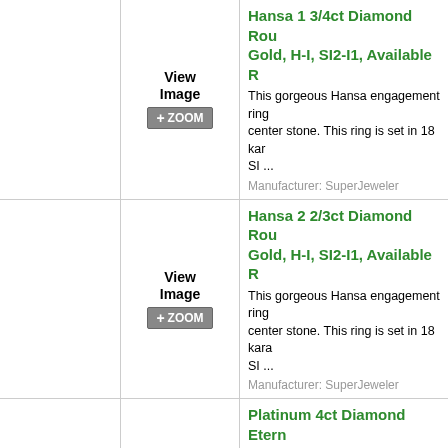Hansa 1 3/4ct Diamond Round Brilliant Solitaire Ring in 18 Karat Gold, H-I, SI2-I1, Available Ring Sizes
This gorgeous Hansa engagement ring features a 1.75ct Round Brilliant center stone. This ring is set in 18 karat gold. SI ...
Manufacturer: SuperJeweler
Hansa 2 2/3ct Diamond Round Brilliant Solitaire Ring in 18 Karat Gold, H-I, SI2-I1, Available Ring Sizes
This gorgeous Hansa engagement ring features a 2.67ct Round Brilliant center stone. This ring is set in 18 karat gold. SI ...
Manufacturer: SuperJeweler
Platinum 4ct Diamond Eternity Band
The classic diamond eternity band in 4ct total weight. Our finest diamond quality, G/H in color ...
Manufacturer: SuperJeweler
Hansa 2ct Diamond Round Brilliant Solitaire Ring in 18 Karat Gold, H-I, SI2-I1, Available Ring Sizes
This gorgeous Hansa engagement ring features a 2ct Round Brilliant center stone. This ring is set in 18 karat gold. SI2- ...
Manufacturer: SuperJeweler
Hansa 1 3/4ct Diamond Round Brilliant Solitaire Ring in 18 Karat Gold, H-I, SI2-I1, Available Ring Sizes
This gorgeous Hansa engagement ring features a 1.75ct Round Brilliant center stone. This ring is set in 18 karat gold. S ...
Manufacturer: SuperJeweler
1 3/4ct G/H SI Quality Princess Cut Diamond Solitaire Ring in Platinum
Our Finest 1 3/4ct White Gold Princess ...